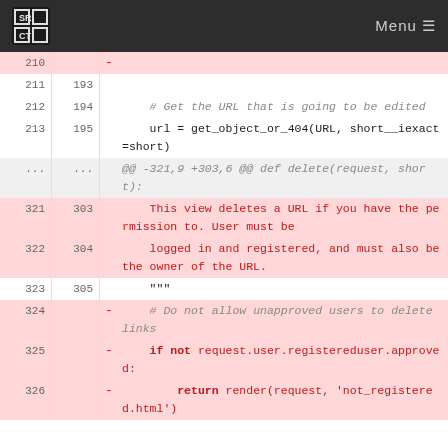SRCT Menu
[Figure (screenshot): Code diff view showing lines 210-326 of a Python file with deleted (red/pink) and context lines. Deleted lines show a dash sign column. Lines include URL editing code and a delete view function docstring, plus removed approval check code.]